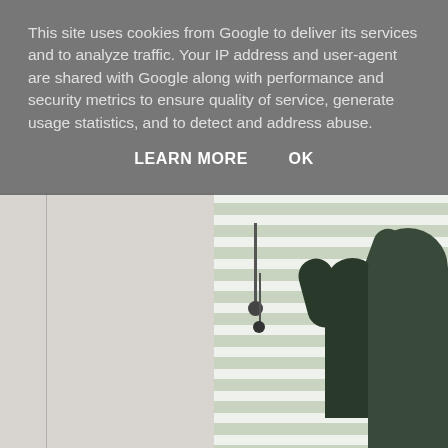[Figure (photo): Photo of cacti near a window with horizontal blinds, viewed from inside a room. Left portion shows white/grey wall area. Right portion shows tall columnar cacti with multiple branches in front of a window with horizontal slat blinds and green foliage visible outside. A pendant light hangs from the window area.]
This site uses cookies from Google to deliver its services and to analyze traffic. Your IP address and user-agent are shared with Google along with performance and security metrics to ensure quality of service, generate usage statistics, and to detect and address abuse.
LEARN MORE     OK